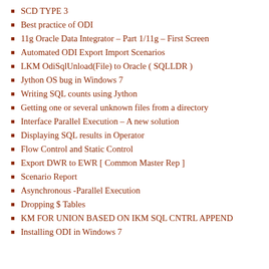SCD TYPE 3
Best practice of ODI
11g Oracle Data Integrator – Part 1/11g – First Screen
Automated ODI Export Import Scenarios
LKM OdiSqlUnload(File) to Oracle ( SQLLDR )
Jython OS bug in Windows 7
Writing SQL counts using Jython
Getting one or several unknown files from a directory
Interface Parallel Execution – A new solution
Displaying SQL results in Operator
Flow Control and Static Control
Export DWR to EWR [ Common Master Rep ]
Scenario Report
Asynchronous -Parallel Execution
Dropping $ Tables
KM FOR UNION BASED ON IKM SQL CNTRL APPEND
Installing ODI in Windows 7